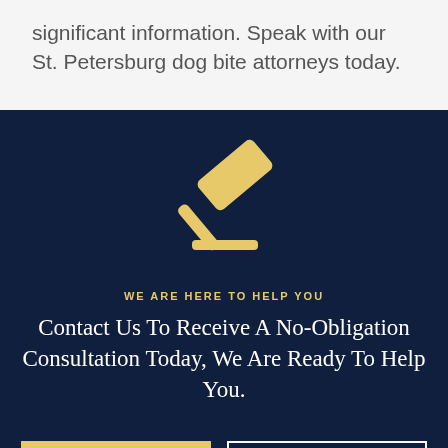significant information. Speak with our St. Petersburg dog bite attorneys today.
[Figure (illustration): Gold gavel icon on dark navy background]
WE ARE HERE TO HELP YOU
Contact Us To Receive A No-Obligation Consultation Today, We Are Ready To Help You.
Contact Us
469-369-1370